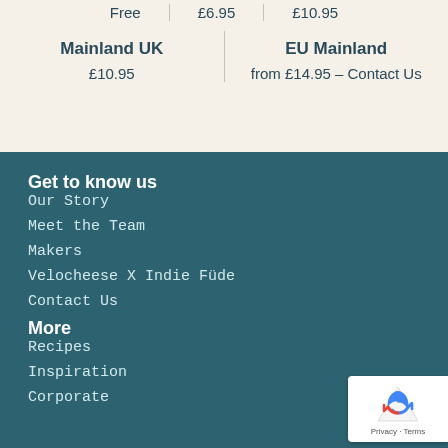| Free | £6.95 | £10.95 |
| --- | --- | --- |
| Mainland UK | EU Mainland |
| --- | --- |
| £10.95 | from £14.95 – Contact Us |
Get to know us
Our Story
Meet the Team
Makers
Velocheese X Indie Füde
Contact Us
More
Recipes
Inspiration
Corporate